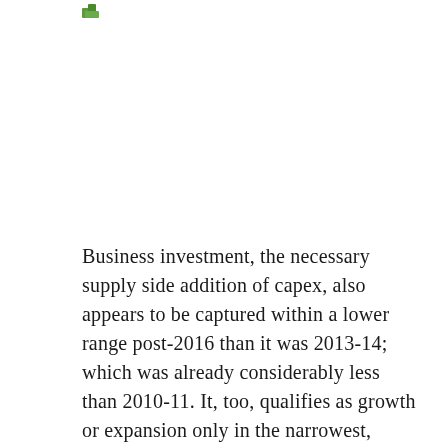[Figure (logo): Small green leaf/plant icon logo in top left area]
Business investment, the necessary supply side addition of capex, also appears to be captured within a lower range post-2016 than it was 2013-14; which was already considerably less than 2010-11. It, too, qualifies as growth or expansion only in the narrowest, technical sense. The further diminishment of the upside if far more relevant than how many quarters